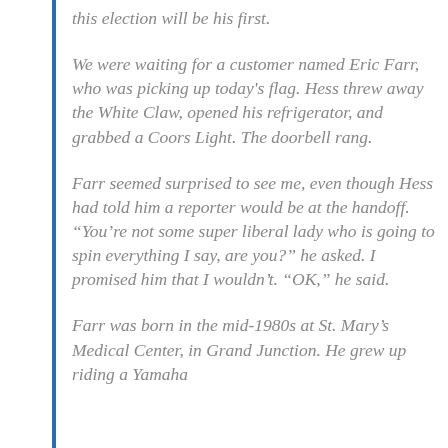this election will be his first.
We were waiting for a customer named Eric Farr, who was picking up today's flag. Hess threw away the White Claw, opened his refrigerator, and grabbed a Coors Light. The doorbell rang.
Farr seemed surprised to see me, even though Hess had told him a reporter would be at the handoff. “You’re not some super liberal lady who is going to spin everything I say, are you?” he asked. I promised him that I wouldn’t. “OK,” he said.
Farr was born in the mid-1980s at St. Mary’s Medical Center, in Grand Junction. He grew up riding a Yamaha